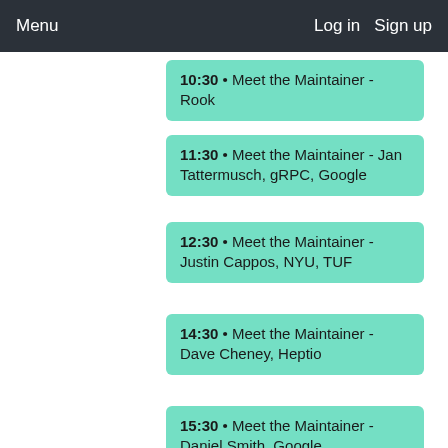Menu  Log in  Sign up
10:30 • Meet the Maintainer - Rook
11:30 • Meet the Maintainer - Jan Tattermusch, gRPC, Google
12:30 • Meet the Maintainer - Justin Cappos, NYU, TUF
14:30 • Meet the Maintainer - Dave Cheney, Heptio
15:30 • Meet the Maintainer - Daniel Smith, Google